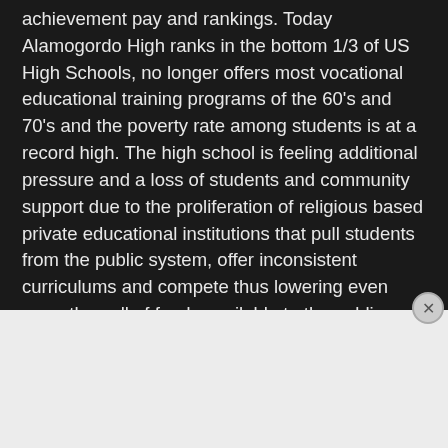achievement pay and rankings. Today Alamogordo High ranks in the bottom 1/3 of US High Schools, no longer offers most vocational educational training programs of the 60's and 70's and the poverty rate among students is at a record high. The high school is feeling additional pressure and a loss of students and community support due to the proliferation of religious based private educational institutions that pull students from the public system, offer inconsistent curriculums and compete thus lowering even more the pull of funds available to the public education system and further depressing jobs recruitment of large corporate jobs into the
Advertisements:
[Figure (infographic): DuckDuckGo advertisement banner with orange background showing 'Search, browse, and email with more privacy. All in One Free App' text and a smartphone showing the DuckDuckGo app logo.]